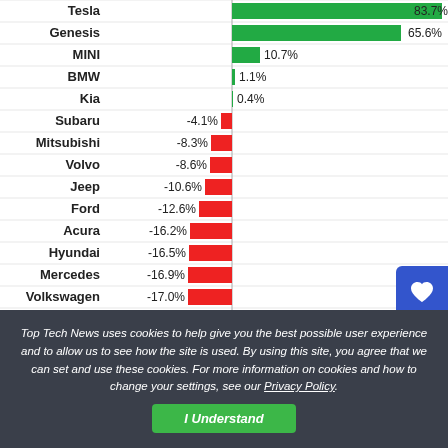[Figure (bar-chart): Brand YoY Change]
Top Tech News uses cookies to help give you the best possible user experience and to allow us to see how the site is used. By using this site, you agree that we can set and use these cookies. For more information on cookies and how to change your settings, see our Privacy Policy.